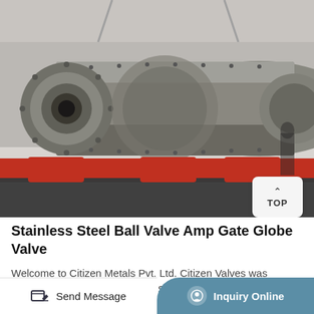[Figure (photo): Industrial photograph of a large stainless steel cylindrical ball valve or pressure vessel assembly mounted on red support rollers in a factory/workshop setting. The machinery has large flanged ends with bolts and is showing a heavy-duty industrial valve or pipe section.]
Stainless Steel Ball Valve Amp Gate Globe Valve
Welcome to Citizen Metals Pvt. Ltd. Citizen Valves was founded in 1981 as a Stainless Steel Ball Valve Manufacturer. now Citizen valves has becom ISO